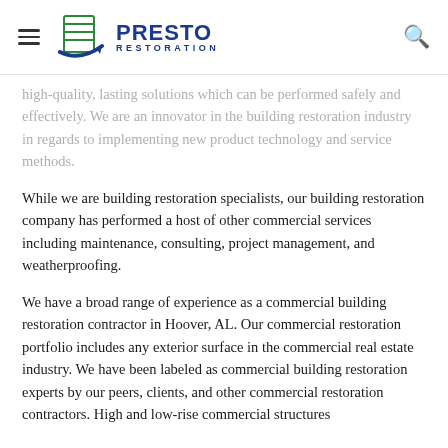Presto Restoration
high-quality, lasting solutions which can be performed safely and effectively. We are an innovator in the building restoration industry in regards to implementing new product technology and service methods.
While we are building restoration specialists, our building restoration company has performed a host of other commercial services including maintenance, consulting, project management, and weatherproofing.
We have a broad range of experience as a commercial building restoration contractor in Hoover, AL. Our commercial restoration portfolio includes any exterior surface in the commercial real estate industry. We have been labeled as commercial building restoration experts by our peers, clients, and other commercial restoration contractors. High and low-rise commercial structures